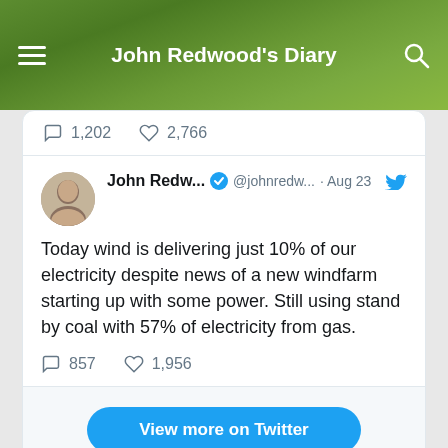John Redwood's Diary
1,202   2,766
John Redw...  @johnredw...  · Aug 23
Today wind is delivering just 10% of our electricity despite news of a new windfarm starting up with some power. Still using stand by coal with 57% of electricity from gas.
857   1,956
View more on Twitter
Learn more about privacy on Twitter